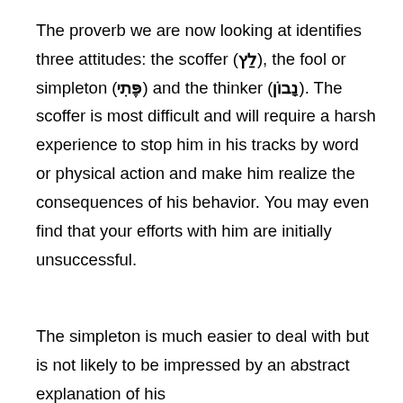The proverb we are now looking at identifies three attitudes: the scoffer (לַץ), the fool or simpleton (פֶּתִי) and the thinker (נָבוֹן). The scoffer is most difficult and will require a harsh experience to stop him in his tracks by word or physical action and make him realize the consequences of his behavior. You may even find that your efforts with him are initially unsuccessful.
The simpleton is much easier to deal with but is not likely to be impressed by an abstract explanation of his...